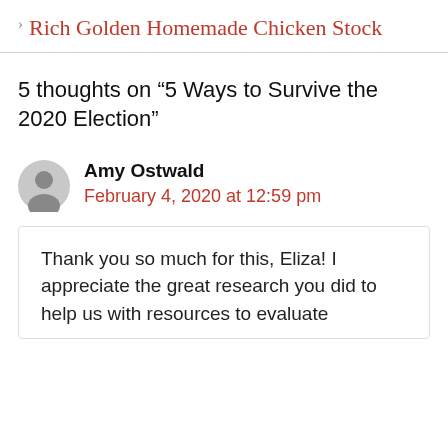› Rich Golden Homemade Chicken Stock
5 thoughts on “5 Ways to Survive the 2020 Election”
Amy Ostwald
February 4, 2020 at 12:59 pm
Thank you so much for this, Eliza! I appreciate the great research you did to help us with resources to evaluate